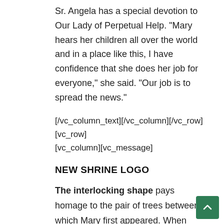Sr. Angela has a special devotion to Our Lady of Perpetual Help. “Mary hears her children all over the world and in a place like this, I have confidence that she does her job for everyone,” she said. “Our job is to spread the news.”
[/vc_column_text][/vc_column][/vc_row][vc_row][vc_column][vc_message]
NEW SHRINE LOGO
The interlocking shape pays homage to the pair of trees between which Mary first appeared. When overlapped, the hemlock and maple trees express unity while forming an M shape.